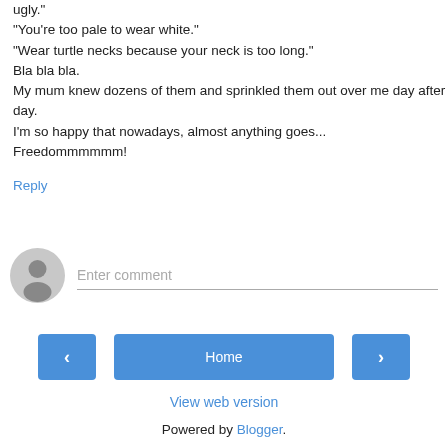ugly."
"You're too pale to wear white."
"Wear turtle necks because your neck is too long."
Bla bla bla.
My mum knew dozens of them and sprinkled them out over me day after day.

I'm so happy that nowadays, almost anything goes... Freedommmmmm!
Reply
[Figure (other): User avatar icon (grey silhouette person icon) and Enter comment input field]
[Figure (infographic): Navigation bar with left arrow button, Home button, and right arrow button]
View web version
Powered by Blogger.